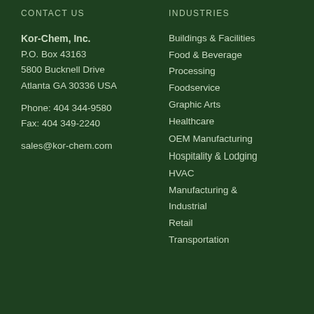CONTACT US
Kor-Chem, Inc.
P.O. Box 43163
5800 Bucknell Drive
Atlanta GA 30336 USA

Phone: 404 344-9580
Fax: 404 349-2240

sales@kor-chem.com
INDUSTRIES
Buildings & Facilities
Food & Beverage Processing
Foodservice
Graphic Arts
Healthcare
OEM Manufacturing
Hospitality & Lodging
HVAC
Manufacturing & Industrial
Retail
Transportation